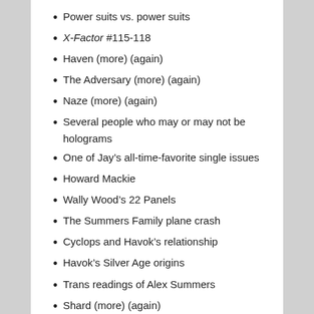Power suits vs. power suits
X-Factor #115-118
Haven (more) (again)
The Adversary (more) (again)
Naze (more) (again)
Several people who may or may not be holograms
One of Jay’s all-time-favorite single issues
Howard Mackie
Wally Wood’s 22 Panels
The Summers Family plane crash
Cyclops and Havok’s relationship
Havok’s Silver Age origins
Trans readings of Alex Summers
Shard (more) (again)